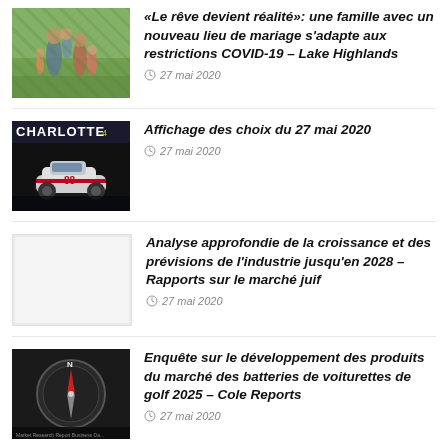«Le rêve devient réalité»: une famille avec un nouveau lieu de mariage s'adapte aux restrictions COVID-19 – Lake Highlands
27 mai 2020
Affichage des choix du 27 mai 2020
27 mai 2020
Analyse approfondie de la croissance et des prévisions de l'industrie jusqu'en 2028 – Rapports sur le marché juif
27 mai 2020
Enquête sur le développement des produits du marché des batteries de voiturettes de golf 2025 – Cole Reports
27 mai 2020